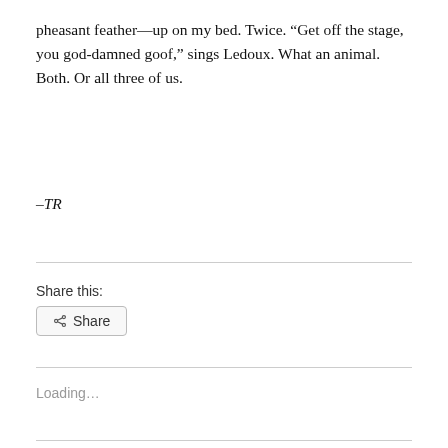pheasant feather—up on my bed. Twice. “Get off the stage, you god-damned goof,” sings Ledoux. What an animal. Both. Or all three of us.
–TR
Share this:
Share
Loading...